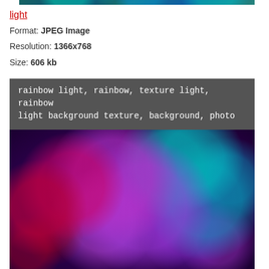[Figure (photo): Cropped top portion of a blue-green bokeh light texture image]
light
Format: JPEG Image
Resolution: 1366x768
Size: 606 kb
[Figure (photo): Rainbow bokeh light background texture with colorful overlapping translucent circles in purple, pink, red, and teal on a dark background. Tag overlay reads: rainbow light, rainbow, texture light, rainbow light background texture, background, photo]
light
Format: JPEG Image